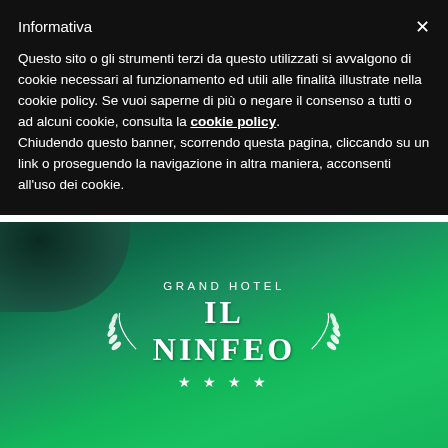Informativa
Questo sito o gli strumenti terzi da questo utilizzati si avvalgono di cookie necessari al funzionamento ed utili alle finalità illustrate nella cookie policy. Se vuoi saperne di più o negare il consenso a tutti o ad alcuni cookie, consulta la cookie policy. Chiudendo questo banner, scorrendo questa pagina, cliccando su un link o proseguendo la navigazione in altra maniera, acconsenti all'uso dei cookie.
[Figure (logo): Grand Hotel Il Ninfeo four-star hotel logo with laurel branches and stars on a green background]